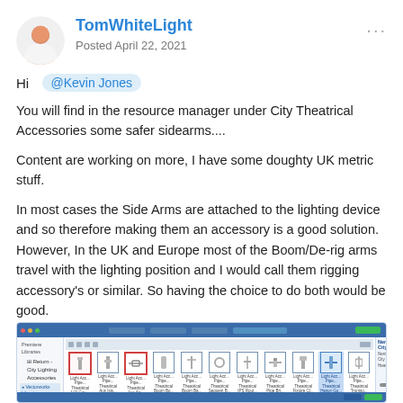TomWhiteLight
Posted April 22, 2021
Hi @Kevin Jones
You will find in the resource manager under City Theatrical Accessories some safer sidearms....
Content are working on more, I have some doughty UK metric stuff.
In most cases the Side Arms are attached to the lighting device and so therefore making them an accessory is a good solution. However, In the UK and Europe most of the Boom/De-rig arms travel with the lighting position and I would call them rigging accessory's or similar. So having the choice to do both would be good.
[Figure (screenshot): Screenshot of a software application showing a resource manager with lighting accessories including City Theatrical items listed in a sidebar, and icons of various lighting components displayed in the main panel, with a side arm image visible on the right panel.]